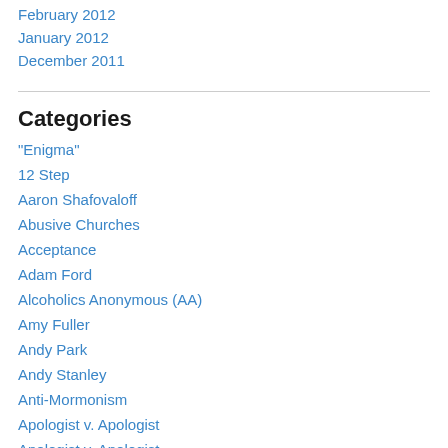February 2012
January 2012
December 2011
Categories
"Enigma"
12 Step
Aaron Shafovaloff
Abusive Churches
Acceptance
Adam Ford
Alcoholics Anonymous (AA)
Amy Fuller
Andy Park
Andy Stanley
Anti-Mormonism
Apologist v. Apologist
Apologist v. Apologist